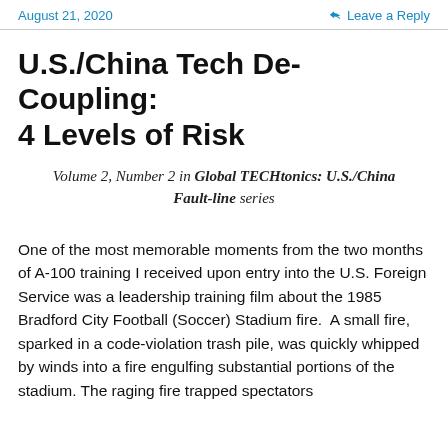August 21, 2020    Leave a Reply
U.S./China Tech De-Coupling: 4 Levels of Risk
Volume 2, Number 2 in Global TECHtonics: U.S./China Fault-line series
One of the most memorable moments from the two months of A-100 training I received upon entry into the U.S. Foreign Service was a leadership training film about the 1985 Bradford City Football (Soccer) Stadium fire.  A small fire, sparked in a code-violation trash pile, was quickly whipped by winds into a fire engulfing substantial portions of the stadium. The raging fire trapped spectators